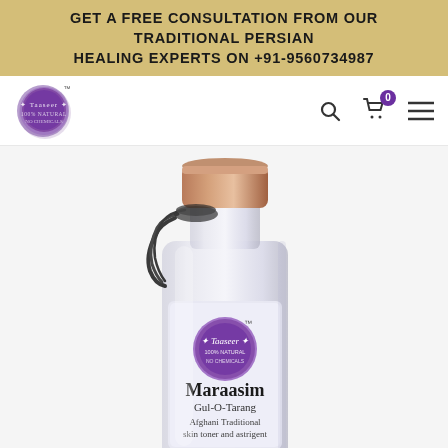GET A FREE CONSULTATION FROM OUR TRADITIONAL PERSIAN HEALING EXPERTS ON +91-9560734987
[Figure (logo): Taaseer brand logo — purple watercolor circle with brand name]
[Figure (photo): Product photo of Maraasim Gul-O-Tarang Afghani Traditional skin toner and astringent bottle with rose-gold cap, black rope, Taaseer logo label, on white background]